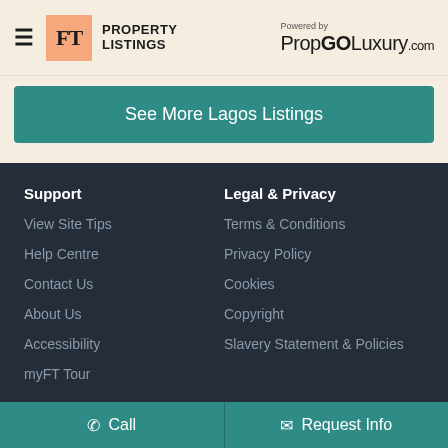FT PROPERTY LISTINGS — Powered by PropGOLuxury.com
See More Lagos Listings
Support
View Site Tips
Help Centre
Contact Us
About Us
Accessibility
myFT Tour
Legal & Privacy
Terms & Conditions
Privacy Policy
Cookies
Copyright
Slavery Statement & Policies
Call | Request Info